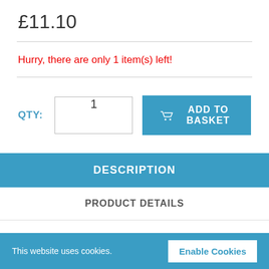£11.10
Hurry, there are only 1 item(s) left!
QTY:  1  ADD TO BASKET
DESCRIPTION
PRODUCT DETAILS
DELIVERY
This website uses cookies.  Enable Cookies